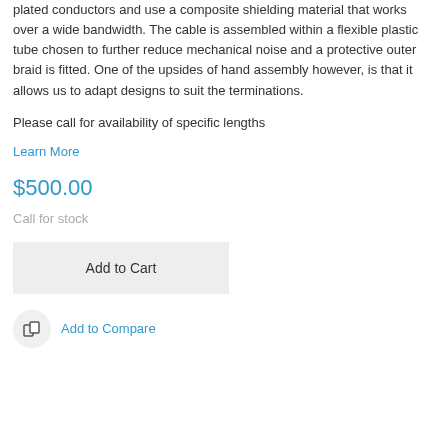plated conductors and use a composite shielding material that works over a wide bandwidth. The cable is assembled within a flexible plastic tube chosen to further reduce mechanical noise and a protective outer braid is fitted. One of the upsides of hand assembly however, is that it allows us to adapt designs to suit the terminations.
Please call for availability of specific lengths
Learn More
$500.00
Call for stock
Add to Cart
Add to Compare